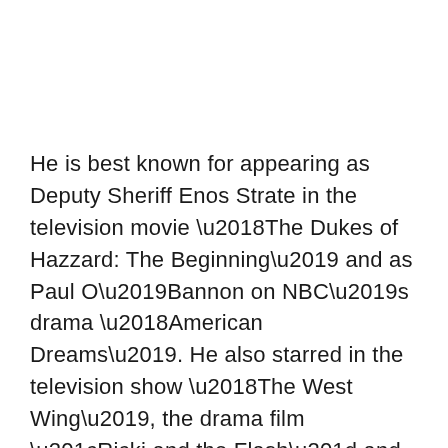He is best known for appearing as Deputy Sheriff Enos Strate in the television movie ‘The Dukes of Hazzard: The Beginning’ and as Paul O’Bannon on NBC’s drama ‘American Dreams’. He also starred in the television show ‘The West Wing’, the drama film “Ricki and the Flash” and the movie “The Gold Lunch”. It has been estimated that his gross net worth is about $1 million.